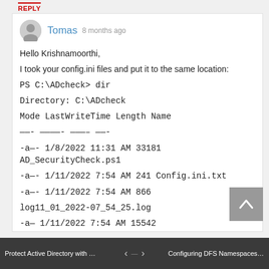REPLY
Tomas  8 months ago
Hello Krishnamoorthi,
I took your config.ini files and put it to the same location:
PS C:\ADcheck> dir

Directory: C:\ADcheck

Mode LastWriteTime Length Name
——- ——————- ———— ——-
-a—- 1/8/2022 11:31 AM 33181 AD_SecurityCheck.ps1
-a—- 1/11/2022 7:54 AM 241 Config.ini.txt
-a—- 1/11/2022 7:54 AM 866 log11_01_2022-07_54_25.log
-a— 1/11/2022 7:54 AM 15542
Protect Active Directory with Micros...   ‹  ›   Configuring DFS Namespaces for ...